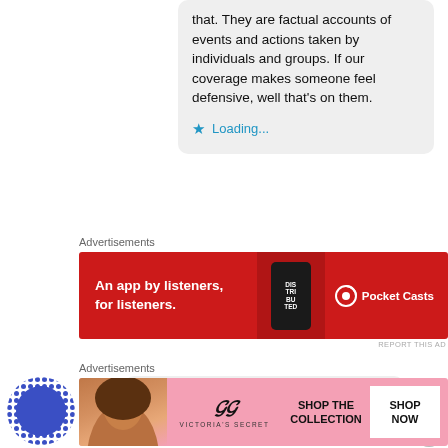that. They are factual accounts of events and actions taken by individuals and groups. If our coverage makes someone feel defensive, well that's on them.
★ Loading...
Advertisements
[Figure (screenshot): Pocket Casts advertisement banner: red background with white text 'An app by listeners, for listeners.' and Pocket Casts logo]
[Figure (screenshot): Victoria's Secret advertisement banner with model photo and 'SHOP THE COLLECTION' text with 'SHOP NOW' button]
Advertisements
V